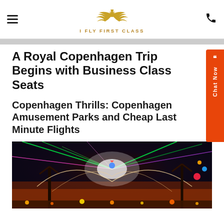I FLY FIRST CLASS
A Royal Copenhagen Trip Begins with Business Class Seats
Copenhagen Thrills: Copenhagen Amusement Parks and Cheap Last Minute Flights
[Figure (photo): Nighttime photo of a Copenhagen amusement park with colorful laser light show, rides silhouetted against an orange and dark sky, lights streaking in motion blur]